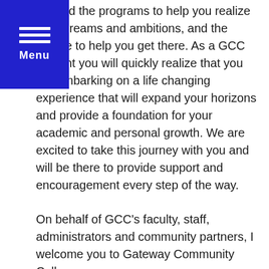[Figure (other): Blue navigation menu overlay with hamburger icon (three horizontal white lines) and 'Menu' label in white text on a blue background, partially covering the top-left corner of the page.]
will find the programs to help you realize your dreams and ambitions, and the people to help you get there. As a GCC student you will quickly realize that you are embarking on a life changing experience that will expand your horizons and provide a foundation for your academic and personal growth. We are excited to take this journey with you and will be there to provide support and encouragement every step of the way.
On behalf of GCC's faculty, staff, administrators and community partners, I welcome you to Gateway Community College.
William T. Brown, PhD